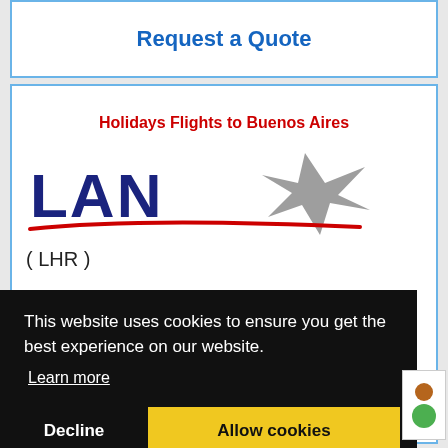Request a Quote
Holidays Flights to Buenos Aires
[Figure (logo): LAN Airlines logo with dark blue bold text 'LAN' and a silver star shape, with a red swoosh underline]
( LHR )
This website uses cookies to ensure you get the best experience on our website.
Learn more
Decline
Allow cookies